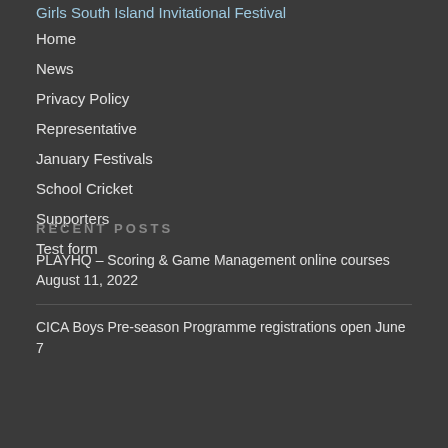Girls South Island Invitational Festival
Home
News
Privacy Policy
Representative
January Festivals
School Cricket
Supporters
Test form
RECENT POSTS
PLAYHQ – Scoring & Game Management online courses August 11, 2022
CICA Boys Pre-season Programme registrations open June 7